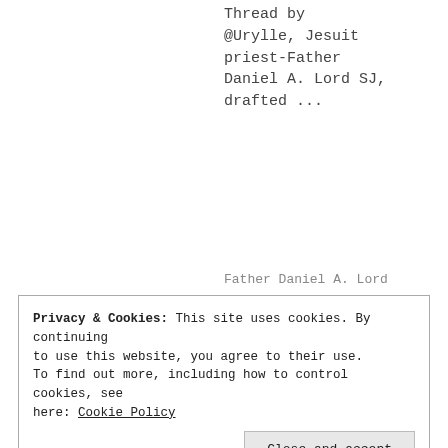Thread by @Urylle, Jesuit priest-Father Daniel A. Lord SJ, drafted ...
Father Daniel A. Lord
Privacy & Cookies: This site uses cookies. By continuing to use this website, you agree to their use. To find out more, including how to control cookies, see here: Cookie Policy
Close and accept